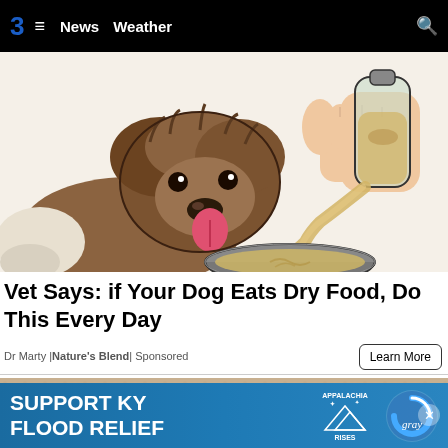3  ≡  News  Weather  🔍
[Figure (illustration): Illustration of a fluffy brown dog with tongue out, next to a hand pouring liquid from a bottle into a metal dog bowl]
Vet Says: if Your Dog Eats Dry Food, Do This Every Day
Dr Marty | Nature's Blend | Sponsored
Learn More
[Figure (photo): Partial photo showing a person wearing a hat against a textured wall background]
[Figure (infographic): SUPPORT KY FLOOD RELIEF banner ad with Appalachia Rises and Gray logos]